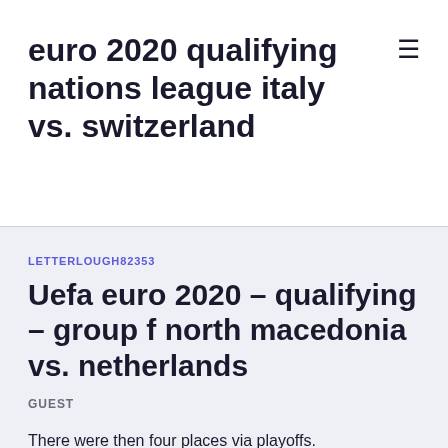euro 2020 qualifying nations league italy vs. switzerland
LETTERLOUGH82353
Uefa euro 2020 – qualifying – group f north macedonia vs. netherlands
GUEST
There were then four places via playoffs.